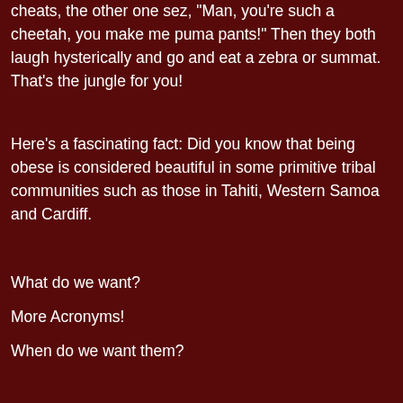cheats, the other one sez, "Man, you're such a cheetah, you make me puma pants!" Then they both laugh hysterically and go and eat a zebra or summat. That's the jungle for you!
Here's a fascinating fact: Did you know that being obese is considered beautiful in some primitive tribal communities such as those in Tahiti, Western Samoa and Cardiff.
What do we want?
More Acronyms!
When do we want them?